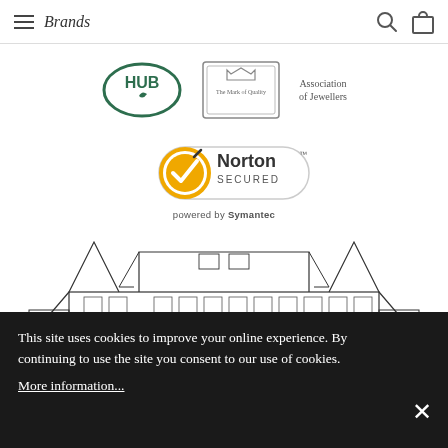Brands
[Figure (logo): Hub logo, The Mark of Quality logo, and Association of Jewellers text logos arranged in a row]
[Figure (logo): Norton Secured badge powered by Symantec]
[Figure (illustration): Line drawing illustration of a large stately building/chateau facade]
This site uses cookies to improve your online experience. By continuing to use the site you consent to our use of cookies. More information...